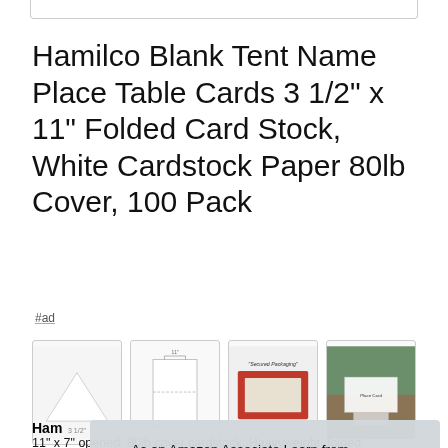Hamilco Blank Tent Name Place Table Cards 3 1/2" x 11" Folded Card Stock, White Cardstock Paper 80lb Cover, 100 Pack
#ad
[Figure (screenshot): Row of four product thumbnail images for Hamilco Blank Tent Name Place Table Cards]
Ham
11" x 7" opened, 80lb cover cardstock, Heavyweight, folded
As an Amazon Associate I earn from qualifying purchases. This website uses the only necessary cookies to ensure you get the best experience on our website. More information